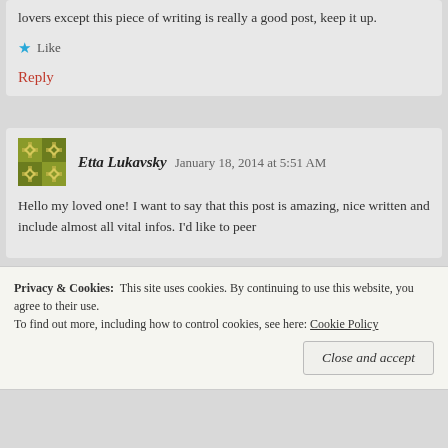lovers except this piece of writing is really a good post, keep it up.
Like
Reply
Etta Lukavsky   January 18, 2014 at 5:51 AM
Hello my loved one! I want to say that this post is amazing, nice written and include almost all vital infos. I'd like to peer
Privacy & Cookies:  This site uses cookies. By continuing to use this website, you agree to their use.
To find out more, including how to control cookies, see here: Cookie Policy
Close and accept